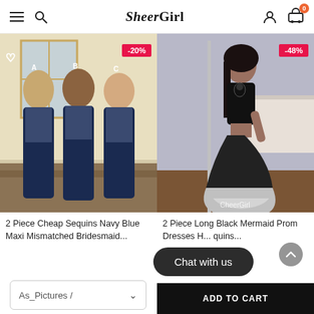SheerGirl — navigation header with hamburger menu, search, brand logo, user icon, cart (0)
[Figure (photo): Three women wearing mismatched navy blue sequin and chiffon bridesmaid dresses labeled A, B, C. -20% discount badge shown.]
2 Piece Cheap Sequins Navy Blue Maxi Mismatched Bridesmaid...
[Figure (photo): Woman wearing two-piece black sequin mermaid prom dress with keyhole neckline. -48% discount badge shown.]
2 Piece Long Black Mermaid Prom Dresses H... quins...
As_Pictures /
ADD TO CART
Chat with us